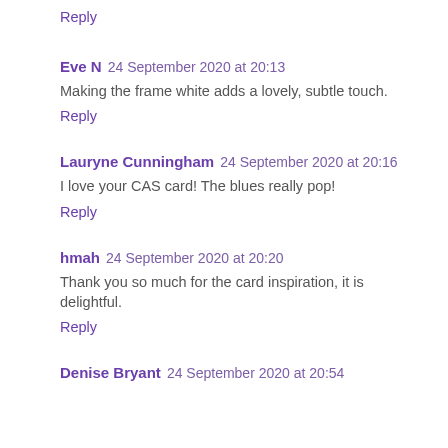Reply
Eve N  24 September 2020 at 20:13
Making the frame white adds a lovely, subtle touch.
Reply
Lauryne Cunningham  24 September 2020 at 20:16
I love your CAS card! The blues really pop!
Reply
hmah  24 September 2020 at 20:20
Thank you so much for the card inspiration, it is delightful.
Reply
Denise Bryant  24 September 2020 at 20:54